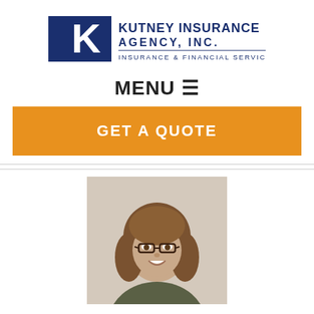[Figure (logo): Kutney Insurance Agency, Inc. logo with blue K letter mark and text 'KUTNEY INSURANCE AGENCY, INC. INSURANCE & FINANCIAL SERVICES']
MENU ≡
GET A QUOTE
[Figure (photo): Professional headshot of a woman with shoulder-length brown hair wearing glasses and smiling, wearing a dark top, photographed against a neutral background]